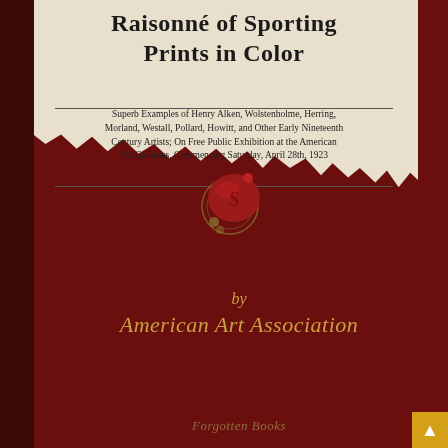Raisonné of Sporting Prints in Color
Superb Examples of Henry Alken, Wolstenholme, Herring, Morland, Westall, Pollard, Howitt, and Other Early Nineteenth Century Artists; On Free Public Exhibition at the American Art Galleries, Commencing Saturday, April 28th, 1923
[Figure (illustration): A red wax seal with a decorative letter, surrounded by circular ring impressions, appearing on the torn parchment paper of the book cover]
by American Art Association
Forgotten Books